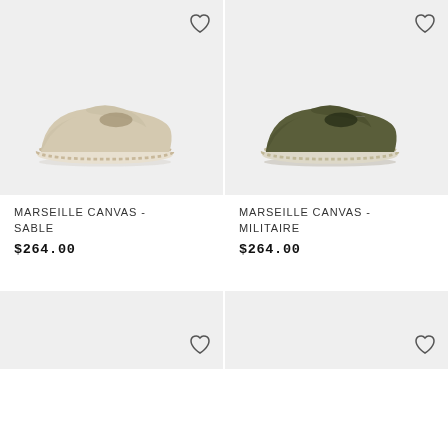[Figure (photo): Beige/sand colored suede espadrille shoe (Marseille Canvas - Sable) on light gray background with heart/wishlist icon in top right corner]
[Figure (photo): Olive/dark green suede espadrille shoe (Marseille Canvas - Militaire) on light gray background with heart/wishlist icon in top right corner]
MARSEILLE CANVAS - SABLE
$264.00
MARSEILLE CANVAS - MILITAIRE
$264.00
[Figure (photo): Bottom left product card - light gray background with heart/wishlist icon, product not fully visible]
[Figure (photo): Bottom right product card - light gray background with heart/wishlist icon, product not fully visible]